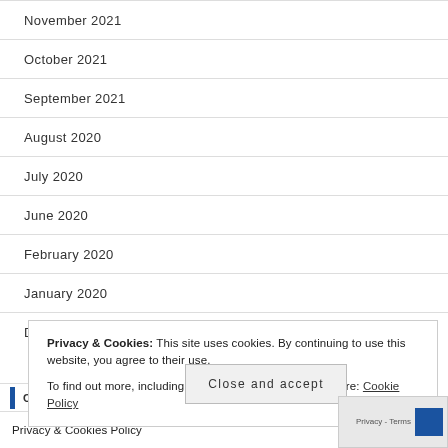November 2021
October 2021
September 2021
August 2020
July 2020
June 2020
February 2020
January 2020
December 2019
Privacy & Cookies: This site uses cookies. By continuing to use this website, you agree to their use.
To find out more, including how to control cookies, see here: Cookie Policy
Close and accept
CATEGORIES
Privacy & Cookies Policy